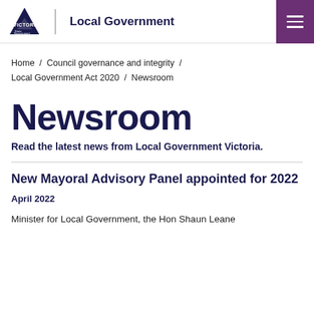Victoria State Government | Local Government
Home / Council governance and integrity / Local Government Act 2020 / Newsroom
Newsroom
Read the latest news from Local Government Victoria.
New Mayoral Advisory Panel appointed for 2022
April 2022
Minister for Local Government, the Hon Shaun Leane